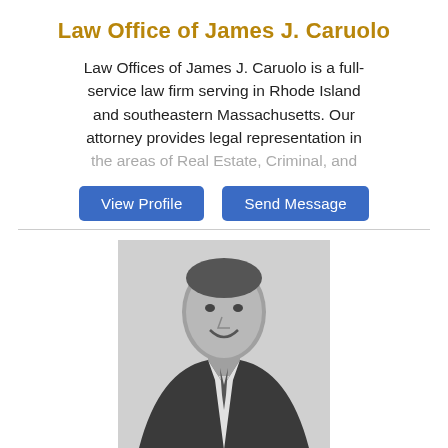Law Office of James J. Caruolo
Law Offices of James J. Caruolo is a full-service law firm serving in Rhode Island and southeastern Massachusetts. Our attorney provides legal representation in the areas of Real Estate, Criminal, and
[Figure (screenshot): Two blue buttons: 'View Profile' and 'Send Message']
[Figure (photo): Black and white headshot photo of Mark B. Morse, Esq., a man in a suit and tie, smiling]
Mark B. Morse, Esq.
Law Firm
Providence, RI 02906
5.6 miles away
Past President: RI Assn for